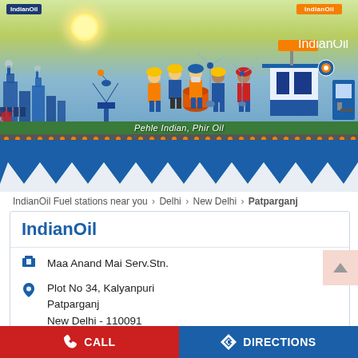[Figure (illustration): IndianOil promotional banner showing industrial scene with oil pump jack, wind turbines, solar panels, gas station, workers, with text 'Pehle Indian, Phir Oil']
Pehle Indian, Phir Oil
IndianOil Fuel stations near you > Delhi > New Delhi > Patparganj
IndianOil
Maa Anand Mai Serv.Stn.
Plot No 34, Kalyanpuri Patparganj New Delhi - 110091
Opposite Chand Cinema
Open until 10:00 PM  OPEN NOW